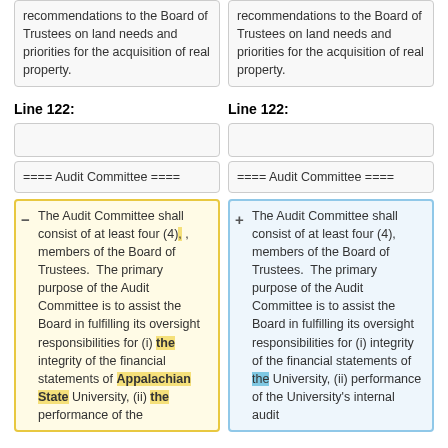recommendations to the Board of Trustees on land needs and priorities for the acquisition of real property.
recommendations to the Board of Trustees on land needs and priorities for the acquisition of real property.
Line 122:
Line 122:
==== Audit Committee ====
==== Audit Committee ====
The Audit Committee shall consist of at least four (4), , members of the Board of Trustees. The primary purpose of the Audit Committee is to assist the Board in fulfilling its oversight responsibilities for (i) the integrity of the financial statements of Appalachian State University, (ii) the performance of the
The Audit Committee shall consist of at least four (4), members of the Board of Trustees. The primary purpose of the Audit Committee is to assist the Board in fulfilling its oversight responsibilities for (i) integrity of the financial statements of the University, (ii) performance of the University's internal audit